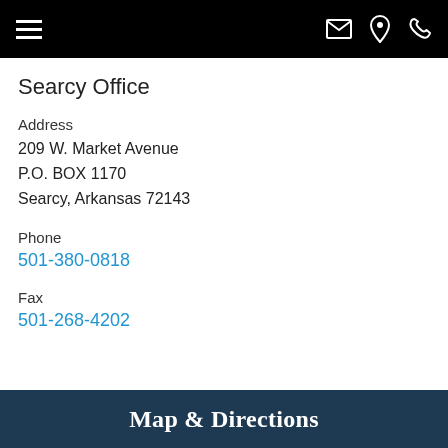navigation bar with hamburger menu, mail icon, location pin icon, phone icon
Searcy Office
Address
209 W. Market Avenue
P.O. BOX 1170
Searcy, Arkansas 72143
Phone
501-380-0818
Fax
501-268-4202
Map & Directions